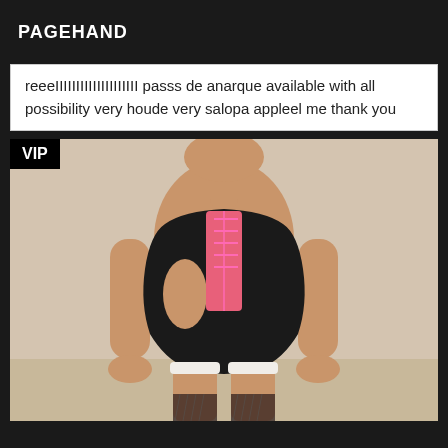PAGEHAND
reeeIIIIIIIIIIIIIIIIIIII passs de anarque available with all possibility very houde very salopa appleel me thank you
[Figure (photo): Person wearing black latex bodysuit with pink lacing and white lace stockings with fishnet tights, VIP badge in top left corner]